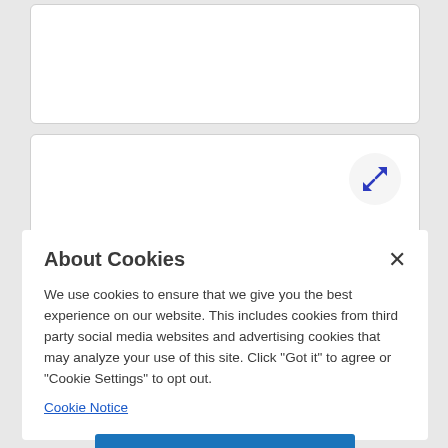[Figure (screenshot): Partially visible white card at top of page]
[Figure (screenshot): White card with expand/resize icon button in top-right corner]
About Cookies
We use cookies to ensure that we give you the best experience on our website. This includes cookies from third party social media websites and advertising cookies that may analyze your use of this site. Click "Got it" to agree or "Cookie Settings" to opt out.
Cookie Notice
Got It
Cookies Settings